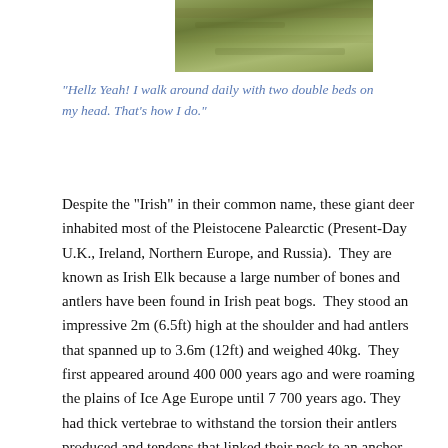[Figure (photo): Top portion of a photo showing a grassy or mossy natural landscape, partially cropped at the top of the page.]
“Hellz Yeah! I walk around daily with two double beds on my head. That’s how I do.”
Despite the “Irish” in their common name, these giant deer inhabited most of the Pleistocene Palearctic (Present-Day U.K., Ireland, Northern Europe, and Russia). They are known as Irish Elk because a large number of bones and antlers have been found in Irish peat bogs. They stood an impressive 2m (6.5ft) high at the shoulder and had antlers that spanned up to 3.6m (12ft) and weighed 40kg. They first appeared around 400 000 years ago and were roaming the plains of Ice Age Europe until 7 700 years ago. They had thick vertebrae to withstand the torsion their antlers produced and tendons that linked their neck to an anchor point on their back so they could lift their heads. The antlers were dual chick-magnets/dude-repellants. It is believed that the males would stand on the crest of a hill near a group of females, grunt, and say “Look at